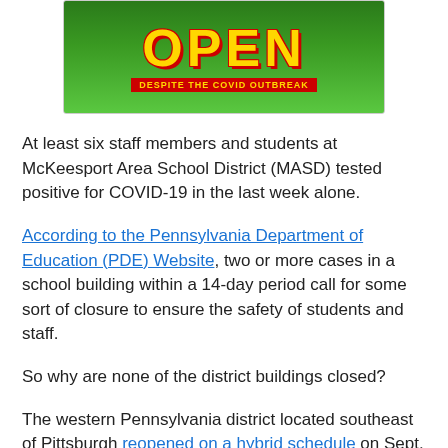[Figure (photo): Image showing 'OPEN' text in large yellow letters with red outline on a green grass background, with subtitle text 'DESPITE THE COVID OUTBREAK']
At least six staff members and students at McKeesport Area School District (MASD) tested positive for COVID-19 in the last week alone.
According to the Pennsylvania Department of Education (PDE) Website, two or more cases in a school building within a 14-day period call for some sort of closure to ensure the safety of students and staff.
So why are none of the district buildings closed?
The western Pennsylvania district located southeast of Pittsburgh reopened on a hybrid schedule on Sept. 2 with about a third of parents opting to keep their children out of the buildings and in the district-run cyber program.
Since then, finding concrete information about Coronavirus